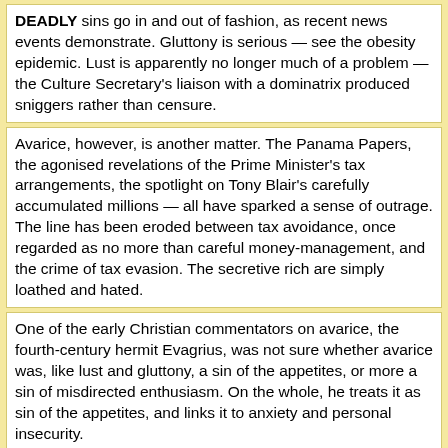DEADLY sins go in and out of fashion, as recent news events demonstrate. Gluttony is serious — see the obesity epidemic. Lust is apparently no longer much of a problem — the Culture Secretary's liaison with a dominatrix produced sniggers rather than censure.
Avarice, however, is another matter. The Panama Papers, the agonised revelations of the Prime Minister's tax arrangements, the spotlight on Tony Blair's carefully accumulated millions — all have sparked a sense of outrage. The line has been eroded between tax avoidance, once regarded as no more than careful money-management, and the crime of tax evasion. The secretive rich are simply loathed and hated.
One of the early Christian commentators on avarice, the fourth-century hermit Evagrius, was not sure whether avarice was, like lust and gluttony, a sin of the appetites, or more a sin of misdirected enthusiasm. On the whole, he treats it as sin of the appetites, and links it to anxiety and personal insecurity.
The avaricious person is not necessarily a wicked hoarder whose sole aim is to grind the face of the poor, but, rather, a brooding control freak, anxious about the future and obsessed with the issue whether there will be “enough” to deal with what might happen, and, in particular, with the indignities of old age.